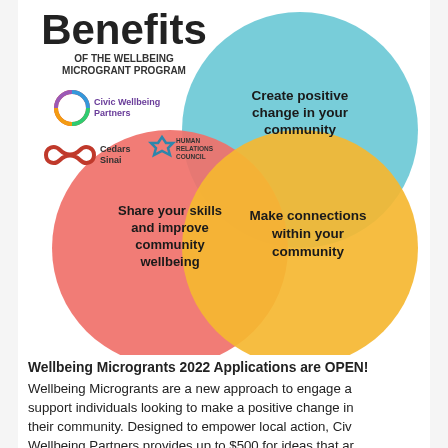Benefits OF THE WELLBEING MICROGRANT PROGRAM
[Figure (infographic): Four overlapping circles (Venn-like diagram) showing benefits: top-left white area with logos (Civic Wellbeing Partners, Cedars Sinai, Human Relations Council), top-right blue circle 'Create positive change in your community', bottom-left red/coral circle 'Share your skills and improve community wellbeing', bottom-right yellow/gold circle 'Make connections within your community']
Wellbeing Microgrants 2022 Applications are OPEN! Wellbeing Microgrants are a new approach to engage and support individuals looking to make a positive change in their community. Designed to empower local action, Civic Wellbeing Partners provides up to $500 for ideas that are focused on small scale projects to improve community wellbeing. Get started with your application here...